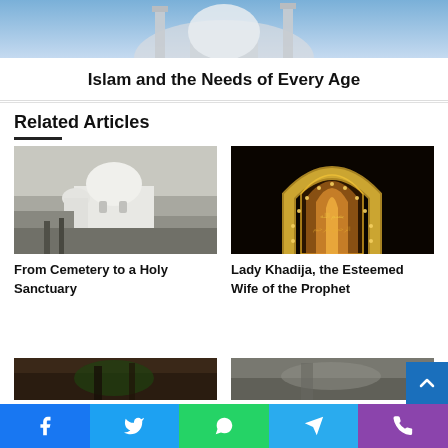[Figure (photo): Top portion of a mosque with blue sky background, partially cropped]
Islam and the Needs of Every Age
Related Articles
[Figure (photo): Black and white historical photo of a cemetery with mosque/domed buildings]
From Cemetery to a Holy Sanctuary
[Figure (photo): Illuminated golden arch with Arabic calligraphy against black background]
Lady Khadija, the Esteemed Wife of the Prophet
[Figure (photo): Partially visible image at bottom left - dark earthy tones with green]
[Figure (photo): Partially visible image at bottom right - grey tones]